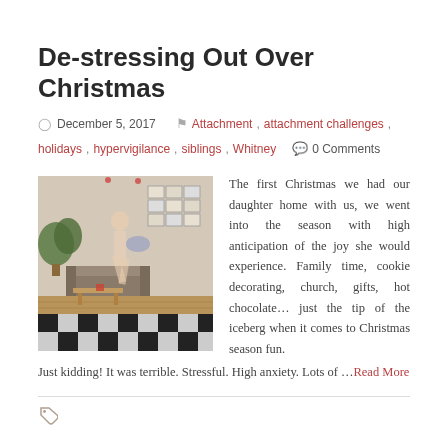De-stressing Out Over Christmas
December 5, 2017   Attachment, attachment challenges, holidays, hypervigilance, siblings, Whitney   0 Comments
[Figure (photo): A blurred photo of a child running through a living room with hardwood and checkerboard tile floors, framed pictures on the wall, and a plant.]
The first Christmas we had our daughter home with us, we went into the season with high anticipation of the joy she would experience. Family time, cookie decorating, church, gifts, hot chocolate… just the tip of the iceberg when it comes to Christmas season fun. Just kidding! It was terrible. Stressful. High anxiety. Lots of …Read More